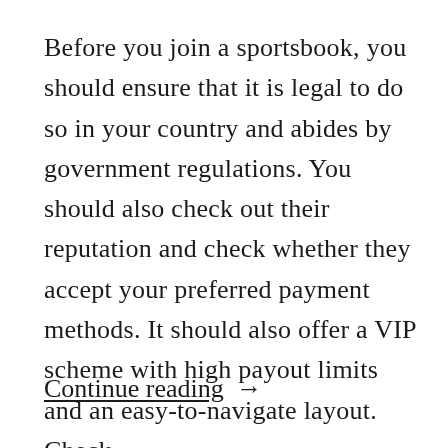Before you join a sportsbook, you should ensure that it is legal to do so in your country and abides by government regulations. You should also check out their reputation and check whether they accept your preferred payment methods. It should also offer a VIP scheme with high payout limits and an easy-to-navigate layout. Check …
Continue reading →